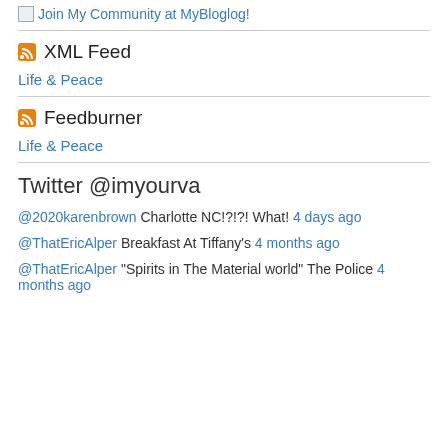[Figure (illustration): Join My Community at MyBloglog! image link with broken image placeholder]
XML Feed
Life & Peace
Feedburner
Life & Peace
Twitter @imyourva
@2020karenbrown Charlotte NC!?!?! What! 4 days ago
@ThatEricAlper Breakfast At Tiffany's 4 months ago
@ThatEricAlper "Spirits in The Material world" The Police 4 months ago